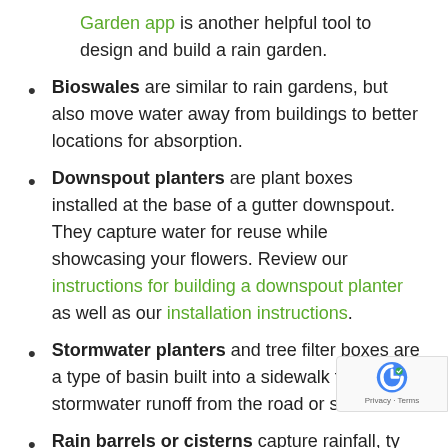Garden app is another helpful tool to design and build a rain garden.
Bioswales are similar to rain gardens, but also move water away from buildings to better locations for absorption.
Downspout planters are plant boxes installed at the base of a gutter downspout. They capture water for reuse while showcasing your flowers. Review our instructions for building a downspout planter as well as our installation instructions.
Stormwater planters and tree filter boxes are a type of basin built into a sidewalk to capture stormwater runoff from the road or sidewalk.
Rain barrels or cisterns capture rainfall, ty from a roof. This water can then be reused watering gardens or washing vehicles. Check out